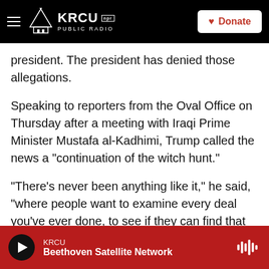KRCU NPR PUBLIC RADIO | Donate
president. The president has denied those allegations.
Speaking to reporters from the Oval Office on Thursday after a meeting with Iraqi Prime Minister Mustafa al-Kadhimi, Trump called the news a "continuation of the witch hunt."
"There's never been anything like it," he said, "where people want to examine every deal you've ever done, to see if they can find that there's a comma out of place. No president has every had to go through this. The Supreme Court shouldn't have allowed this to happen."
KRCU | Beethoven Satellite Network